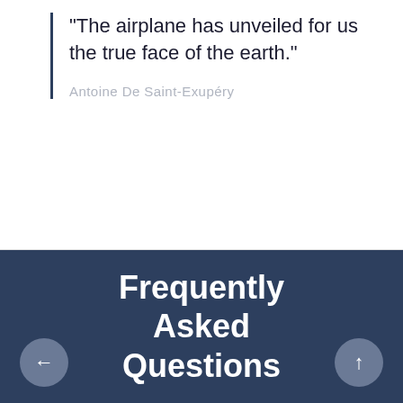"The airplane has unveiled for us the true face of the earth."
Antoine De Saint-Exupéry
Frequently Asked Questions